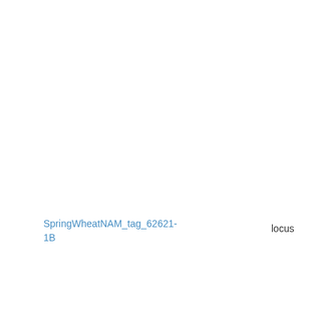NAM16-Berkut-x-PI8 Wheat-2018-NAM16 BxPI8813_1B
Wheat ABD - Wheat NAM26-Berkut-x- PI185715 - Wheat-2 NAM26-BxPI185715
Wheat ABD - Wheat NAM13-Berkut-x- PI262611 - Wheat-2 NAM13-BxPI262611
Wheat ABD - Wheat NAM17-Berkut-x-PI8 - Wheat-2018-NAM1 BxPI82469_1B
SpringWheatNAM_tag_62621-1B
locus
0
Wheat ABD - Wheat NAM1-Berkut-x- DharwarDry - Whea 2018-NAM1- BxDharwarDry_1B
Wheat ABD - Wheat NAM8-Berkut-x-PBW Wheat-2018-NAM8- BxPBW343_1B
Wheat ABD - Wheat NAM24-Berkut-x-